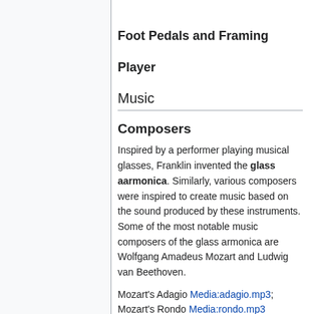Foot Pedals and Framing
Player
Music
Composers
Inspired by a performer playing musical glasses, Franklin invented the glass aarmonica. Similarly, various composers were inspired to create music based on the sound produced by these instruments. Some of the most notable music composers of the glass armonica are Wolfgang Amadeus Mozart and Ludwig van Beethoven.
Mozart's Adagio Media:adagio.mp3; Mozart's Rondo Media:rondo.mp3
Now it's your turn to play the armonica!
Other Uses